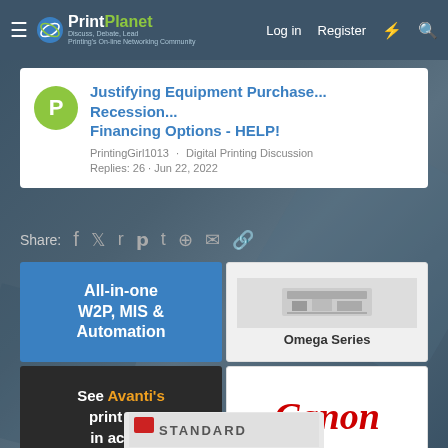PrintPlanet - Discuss, Debate, Lead - Printing's On-line Networking Community | Log in | Register
Justifying Equipment Purchase... Recession... Financing Options - HELP!
PrintingGirl1013 · Digital Printing Discussion
Replies: 26 · Jun 22, 2022
Share:
[Figure (advertisement): Blue ad: All-in-one W2P, MIS & Automation]
[Figure (advertisement): Omega Series machinery ad with equipment photo]
[Figure (advertisement): See Avanti's print MIS in action]
[Figure (advertisement): Canon logo advertisement]
[Figure (logo): Standard logo strip at bottom]